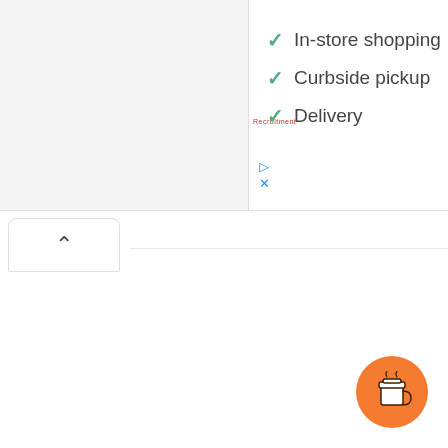✓ In-store shopping
✓ Curbside pickup
✓ Delivery
[Figure (screenshot): Orange circular button with a coffee cup icon in the bottom-right corner]
[Figure (screenshot): Chevron/up-arrow button tab element on the left side]